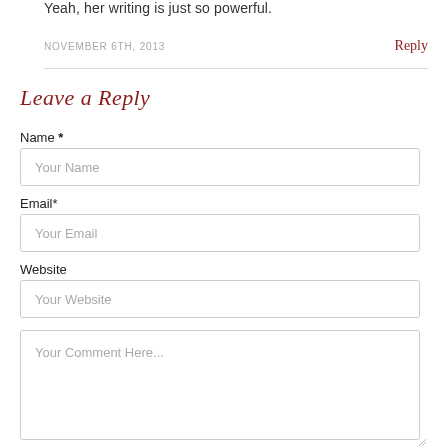Yeah, her writing is just so powerful.
NOVEMBER 6TH, 2013
Reply
Leave a Reply
Name *
Your Name
Email*
Your Email
Website
Your Website
Your Comment Here...